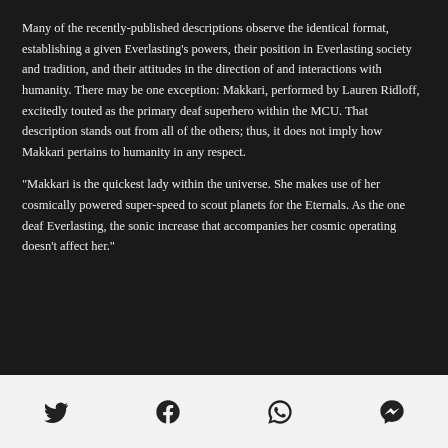Many of the recently-published descriptions observe the identical format, establishing a given Everlasting's powers, their position in Everlasting society and tradition, and their attitudes in the direction of and interactions with humanity. There may be one exception: Makkari, performed by Lauren Ridloff, excitedly touted as the primary deaf superhero within the MCU. That description stands out from all of the others; thus, it does not imply how Makkari pertains to humanity in any respect.
"Makkari is the quickest lady within the universe. She makes use of her cosmically powered super-speed to scout planets for the Eternals. As the one deaf Everlasting, the sonic increase that accompanies her cosmic operating doesn't affect her."
[Twitter icon] [Facebook icon] [WhatsApp icon] [Messenger icon]